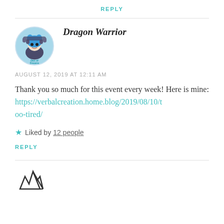REPLY
[Figure (illustration): Circular avatar of Dragon Warrior character — anime-style blue-haired character with headphones on a light blue background with text 'Den of Dreams']
Dragon Warrior
AUGUST 12, 2019 AT 12:11 AM
Thank you so much for this event every week! Here is mine: https://verbalcreation.home.blog/2019/08/10/too-tired/
Liked by 12 people
REPLY